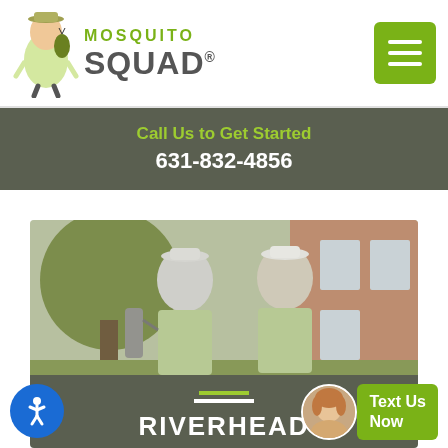[Figure (logo): Mosquito Squad logo with cartoon mascot character and green brand name text]
Call Us to Get Started
631-832-4856
[Figure (photo): Two Mosquito Squad technicians in green uniforms standing outside a brick building]
RIVERHEAD
[Figure (illustration): Accessibility button icon (blue circle with white person figure)]
Text Us Now